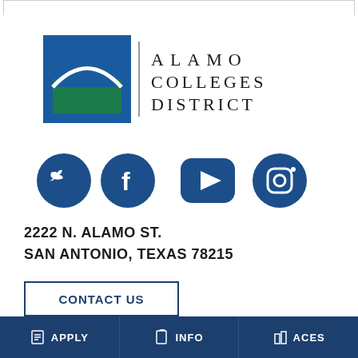[Figure (logo): Alamo Colleges District logo with blue square icon featuring white arch/dome shape over green background, vertical gray divider line, and text 'ALAMO COLLEGES DISTRICT' in spaced black serif letters]
[Figure (infographic): Four dark blue circular social media icons in a row: Twitter bird, Facebook f, YouTube play button (rounded rectangle), Instagram camera]
2222 N. ALAMO ST.
SAN ANTONIO, TEXAS 78215
CONTACT US
APPLY   INFO   ACES